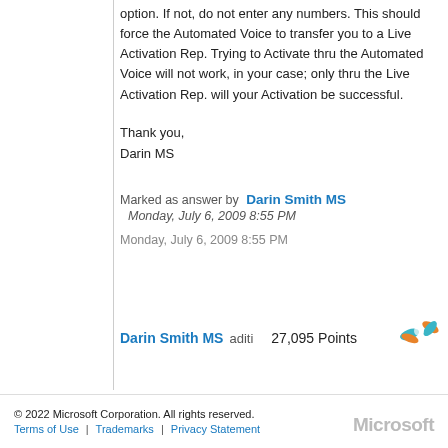option. If not, do not enter any numbers. This should force the Automated Voice to transfer you to a Live Activation Rep. Trying to Activate thru the Automated Voice will not work, in your case; only thru the Live Activation Rep. will your Activation be successful.
Thank you,
Darin MS
Marked as answer by   Darin Smith MS
   Monday, July 6, 2009 8:55 PM
Monday, July 6, 2009 8:55 PM
Darin Smith MS aditi   27,095 Points
[Figure (illustration): Star/award icon in orange and teal colors]
© 2022 Microsoft Corporation. All rights reserved.
Terms of Use | Trademarks | Privacy Statement